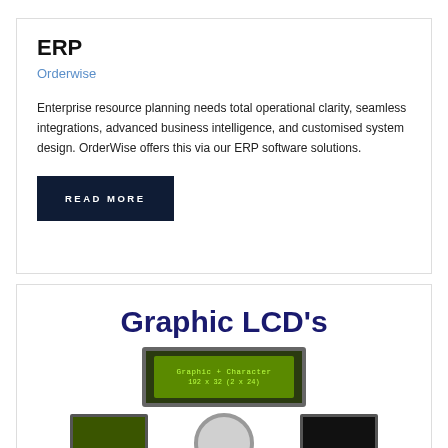ERP
Orderwise
Enterprise resource planning needs total operational clarity, seamless integrations, advanced business intelligence, and customised system design. OrderWise offers this via our ERP software solutions.
READ MORE
Graphic LCD's
[Figure (photo): Green graphic LCD display showing text 'Graphic + Character 192 x 32 (2 x 24)' and several smaller LCD modules below including a green rectangular LCD, a round silver LCD, and a dark rectangular LCD]